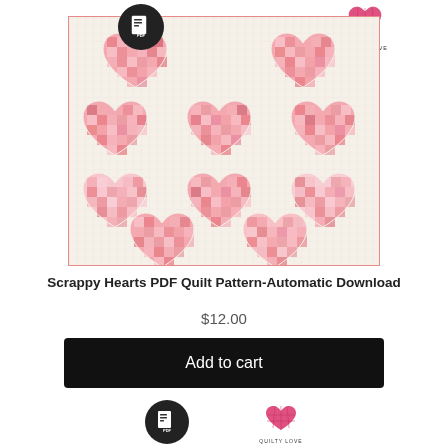[Figure (photo): Scrappy Hearts quilt pattern preview image showing a quilt with 9 pixelated pink hearts arranged in a 3x3 grid on a light background, bordered by a pink frame. Also shows PDF badge icon and Quilty Love logo.]
Scrappy Hearts PDF Quilt Pattern-Automatic Download
$12.00
Add to cart